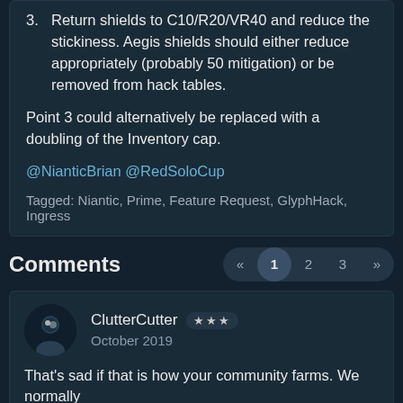3. Return shields to C10/R20/VR40 and reduce the stickiness. Aegis shields should either reduce appropriately (probably 50 mitigation) or be removed from hack tables.
Point 3 could alternatively be replaced with a doubling of the Inventory cap.
@NianticBrian @RedSoloCup
Tagged: Niantic, Prime, Feature Request, GlyphHack, Ingress
Comments
« 1 2 3 »
ClutterCutter ★★★ October 2019
That's sad if that is how your community farms. We normally